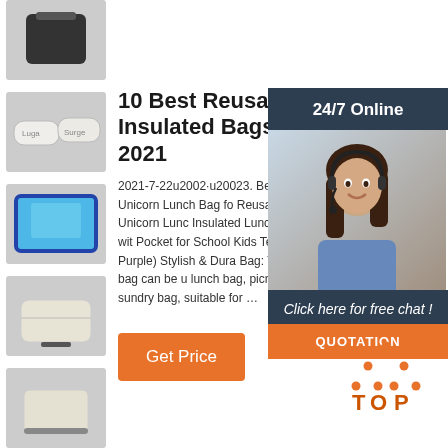[Figure (photo): Black insulated bag thumbnail]
[Figure (photo): White zip pouches thumbnail]
[Figure (photo): Blue insulated bag thumbnail]
[Figure (photo): Cream colored bag thumbnail]
[Figure (photo): Cream bag side view thumbnail]
[Figure (photo): Cream bag with handle thumbnail]
10 Best Reusable Insulated Bags For 2021
2021-7-22u2002·u20023. Best Lunch Bag for School. Unicorn Lunch Bag for Girls - Reusable Cute Unicorn Lunch Box Insulated Lunch Tote Bag with Side Pocket for School Kids Teen Girls (Dark Purple) Stylish & Durable Lunch Bag: This lunch bag can be used as lunch bag, picnic bag, sundry bag, suitable for …
[Figure (photo): Customer service agent photo with 24/7 Online chat overlay and QUOTATION button]
[Figure (logo): TOP logo icon with orange dot triangle and text]